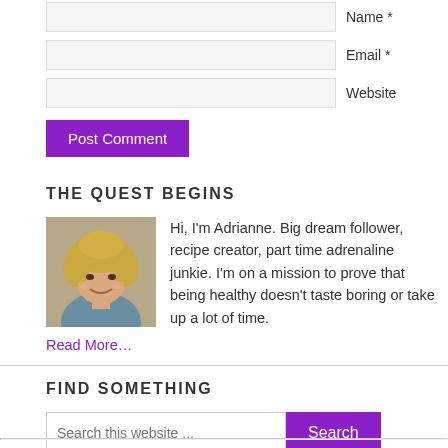Name *
Email *
Website
Post Comment
THE QUEST BEGINS
[Figure (photo): Portrait photo of Adrianne, a woman with curly blonde hair, smiling]
Hi, I'm Adrianne. Big dream follower, recipe creator, part time adrenaline junkie. I'm on a mission to prove that being healthy doesn't taste boring or take up a lot of time.
Read More…
FIND SOMETHING
Search this website ...
Search